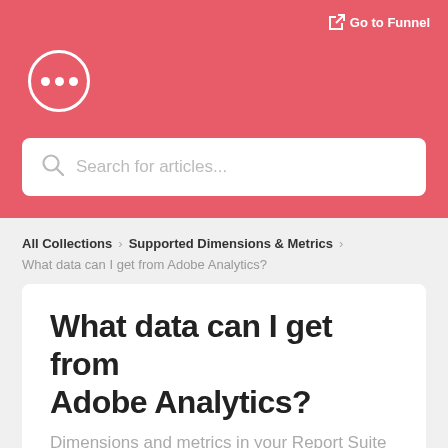Go to Funnel
[Figure (logo): Circle logo with three dots (ellipsis) inside, white on red background]
Search for articles...
All Collections > Supported Dimensions & Metrics > What data can I get from Adobe Analytics?
What data can I get from Adobe Analytics?
Dimensions and metrics in your Report Suite